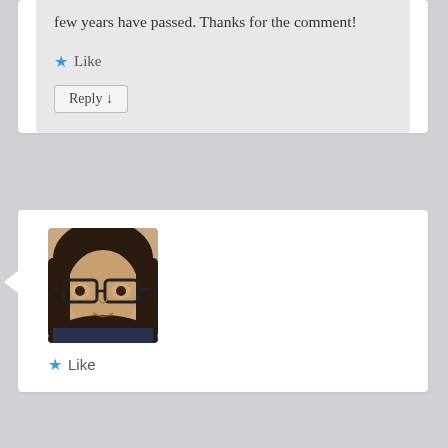few years have passed. Thanks for the comment!
★ Like
Reply ↓
[Figure (photo): Profile photo of a young woman with glasses and long dark hair]
Jan on September 2, 2020 at 12:03 am said:
Haha what an experience! I tend to wear a conspicuous sun hat (by choice) when I go on holiday, which i think helps my husband to not lose me! 😀
★ Like